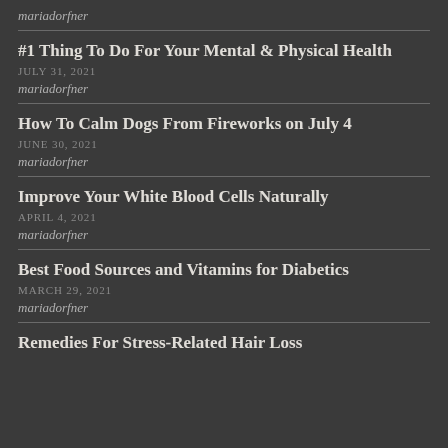mariadorfner
#1 Thing To Do For Your Mental & Physical Health
JULY 31, 2021
mariadorfner
How To Calm Dogs From Fireworks on July 4
JUNE 30, 2021
mariadorfner
Improve Your White Blood Cells Naturally
APRIL 4, 2021
mariadorfner
Best Food Sources and Vitamins for Diabetics
MARCH 29, 2021
mariadorfner
Remedies For Stress-Related Hair Loss